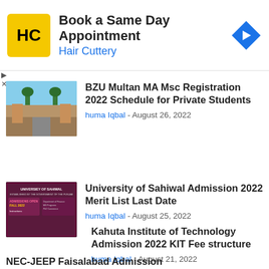[Figure (other): Hair Cuttery advertisement banner with logo, text 'Book a Same Day Appointment / Hair Cuttery', and blue navigation arrow icon]
BZU Multan MA Msc Registration 2022 Schedule for Private Students — huma Iqbal - August 26, 2022
University of Sahiwal Admission 2022 Merit List Last Date — huma Iqbal - August 25, 2022
Kahuta Institute of Technology Admission 2022 KIT Fee structure — huma Iqbal - August 21, 2022
NEC-JEEP Faisalabad Admission (partial)